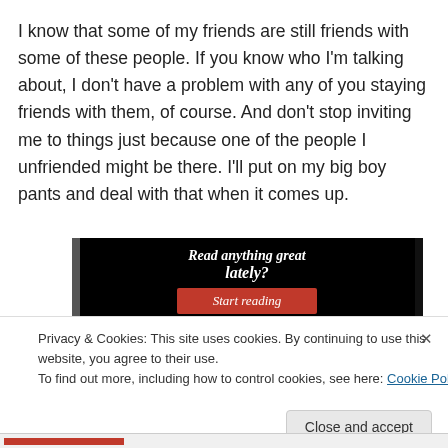I know that some of my friends are still friends with some of these people.  If you know who I'm talking about, I don't have a problem with any of you staying friends with them, of course.  And don't stop inviting me to things just because one of the people I unfriended might be there.  I'll put on my big boy pants and deal with that when it comes up.
[Figure (screenshot): Dark banner/advertisement screenshot with white italic serif text 'Read anything great lately?' and a red 'Start reading' button]
Privacy & Cookies: This site uses cookies. By continuing to use this website, you agree to their use.
To find out more, including how to control cookies, see here: Cookie Policy
Close and accept